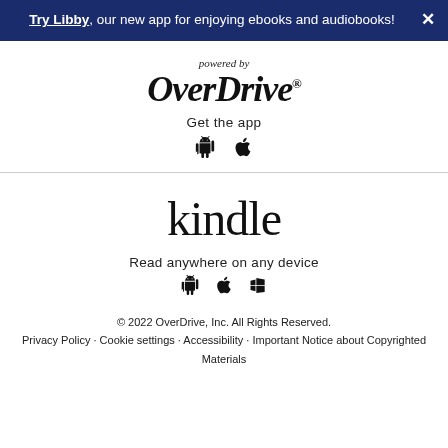Try Libby, our new app for enjoying ebooks and audiobooks!
powered by
OverDrive®
Get the app
[Figure (other): Android and Apple app store icons]
[Figure (other): kindle logo]
Read anywhere on any device
[Figure (other): Android, Apple, and Windows app store icons]
© 2022 OverDrive, Inc. All Rights Reserved.
Privacy Policy · Cookie settings · Accessibility · Important Notice about Copyrighted Materials